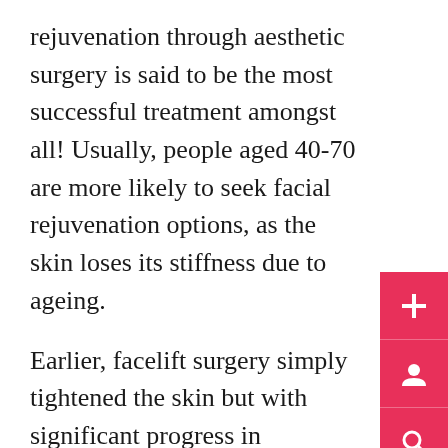rejuvenation through aesthetic surgery is said to be the most successful treatment amongst all! Usually, people aged 40-70 are more likely to seek facial rejuvenation options, as the skin loses its stiffness due to ageing.
Earlier, facelift surgery simply tightened the skin but with significant progress in cosmetology, facelifts can now reposition the muscles, skin fat altogether. As the technique and process of conducting the procedure have evolved, evaluate it thoroughly before considering it to upgrade your facial features.
A liquid facelift involves injecting dermal fillers